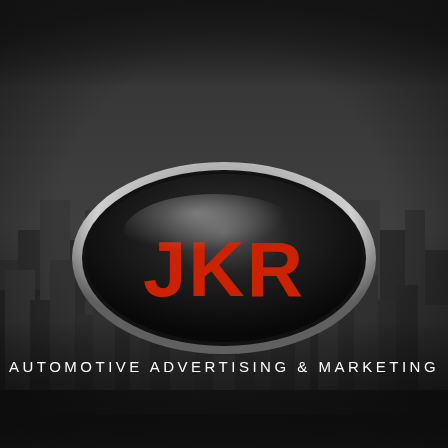[Figure (logo): JKR Automotive Advertising & Marketing logo on dark city skyline background. The logo is an oval chrome badge with black interior showing JKR in large red letters. Below the oval badge reads AUTOMOTIVE ADVERTISING & MARKETING in white spaced caps.]
AUTOMOTIVE ADVERTISING & MARKETING